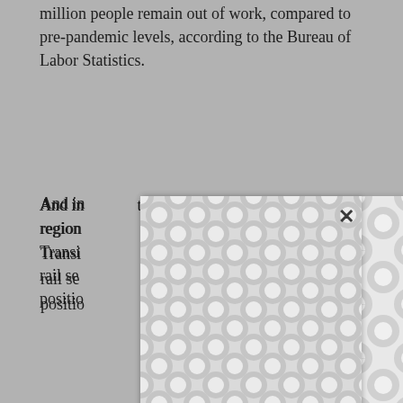million people remain out of work, compared to pre-pandemic levels, according to the Bureau of Labor Statistics.
And in [modal overlay obscures text] tal region [modal overlay obscures text] Transit [modal overlay obscures text] ekend rail se[modal overlay obscures text] oo positio[modal overlay obscures text] outs.
[Figure (other): Modal dialog box with decorative interlocking circle pattern background and an X close button in the top right corner]
Other [modal obscures text] ican Susan C[modal obscures text] Murko[modal obscures text] er of Virginia, Democrats Maggie Hassan and Jeanne Shaheen of New Hampshire, and independent Angus King of Maine, who caucuses with Democrats.